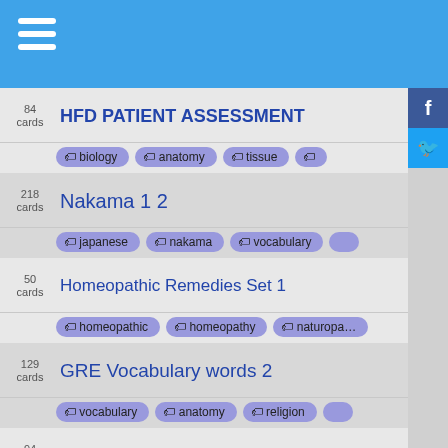84 cards — HFD PATIENT ASSESSMENT
218 cards — Nakama 1 2
50 cards — Homeopathic Remedies Set 1
129 cards — GRE Vocabulary words 2
94 cards — Fresno PD - PTO Code Sections
247 cards — Spanish Sentences
151 cards — OED &quot;L&quot;